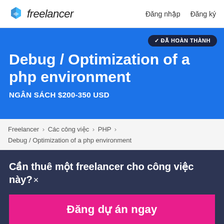Freelancer  Đăng nhập  Đăng ký
Debug / Optimization of a php environment
NGÂN SÁCH $200-350 USD
ĐÃ HOÀN THÀNH
Freelancer › Các công việc › PHP › Debug / Optimization of a php environment
Cần thuê một freelancer cho công việc này?×
Đăng dự án ngay